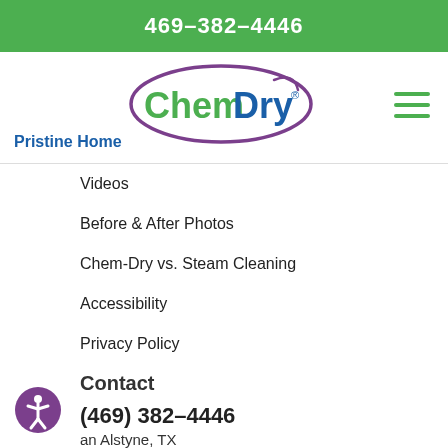469-382-4446
Pristine Home
[Figure (logo): Chem-Dry logo inside a purple oval]
Videos
Before & After Photos
Chem-Dry vs. Steam Cleaning
Accessibility
Privacy Policy
Contact
(469) 382-4446
an Alstyne, TX
Hours: Mon-Fri 8am-8pm